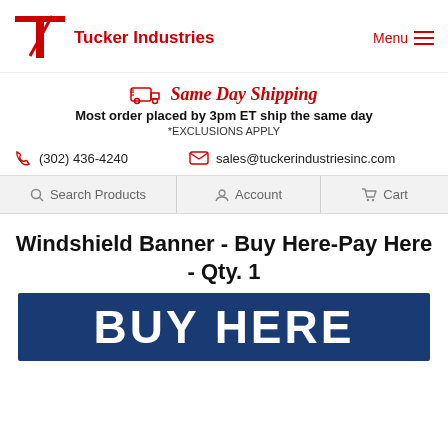Tucker Industries | Menu
Same Day Shipping — Most order placed by 3pm ET ship the same day *EXCLUSIONS APPLY
(302) 436-4240   sales@tuckerindustriesinc.com
Search Products   Account   Cart
Windshield Banner - Buy Here-Pay Here - Qty. 1
[Figure (photo): Dark navy blue windshield banner with white bold text reading BUY HERE]